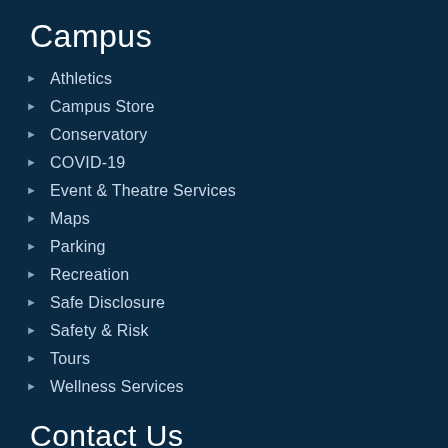Campus
Athletics
Campus Store
Conservatory
COVID-19
Event & Theatre Services
Maps
Parking
Recreation
Safe Disclosure
Safety & Risk
Tours
Wellness Services
Contact Us
Mount Royal University